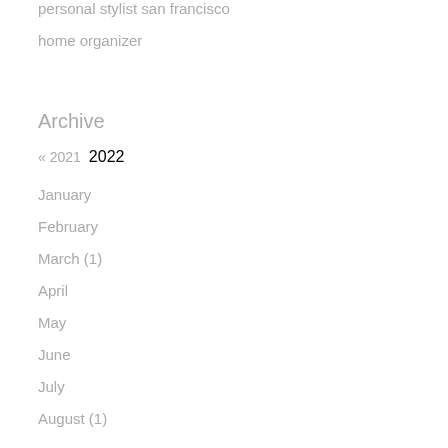personal stylist san francisco
home organizer
Archive
« 2021  2022
January
February
March (1)
April
May
June
July
August (1)